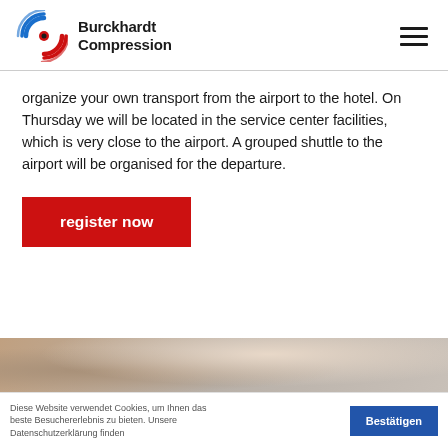Burckhardt Compression
organize your own transport from the airport to the hotel. On Thursday we will be located in the service center facilities, which is very close to the airport. A grouped shuttle to the airport will be organised for the departure.
register now
[Figure (photo): Outdoor landscape photo strip showing sky and ground]
Diese Website verwendet Cookies, um Ihnen das beste Besuchererlebnis zu bieten. Unsere Datenschutzerklärung finden